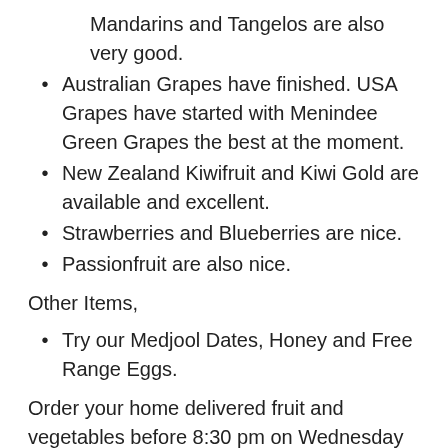Mandarins and Tangelos are also very good.
Australian Grapes have finished. USA Grapes have started with Menindee Green Grapes the best at the moment.
New Zealand Kiwifruit and Kiwi Gold are available and excellent.
Strawberries and Blueberries are nice.
Passionfruit are also nice.
Other Items,
Try our Medjool Dates, Honey and Free Range Eggs.
Order your home delivered fruit and vegetables before 8:30 pm on Wednesday for delivery to Artarmon, Castle Cove, Castlecrag, Chatswood, Chatswood West, East Killara, East Lindfield, Gordon, Gordon East, Gordon West